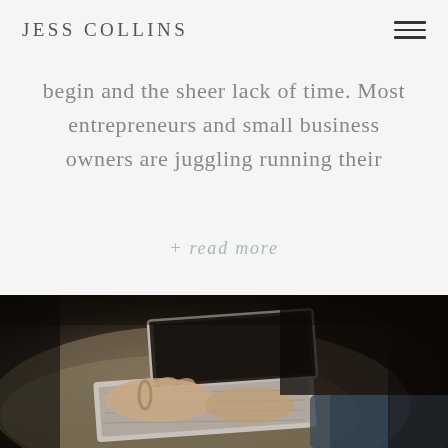JESS COLLINS
begin and the sheer lack of time. Most entrepreneurs and small business owners are juggling running their
+ read more
[Figure (photo): Person sitting casually working on a laptop computer, wearing a knit sweater and jeans, dark moody background]